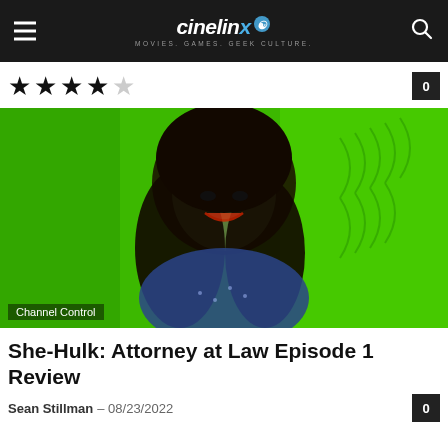cinelinx — MOVIES. GAMES. GEEK CULTURE.
★★★★☆ (4 out of 5 stars) | 0 comments
[Figure (photo): Green-tinted photo of a smiling woman with long dark hair (She-Hulk character) against a bright green background. Caption reads 'Channel Control' in lower left.]
She-Hulk: Attorney at Law Episode 1 Review
Sean Stillman – 08/23/2022